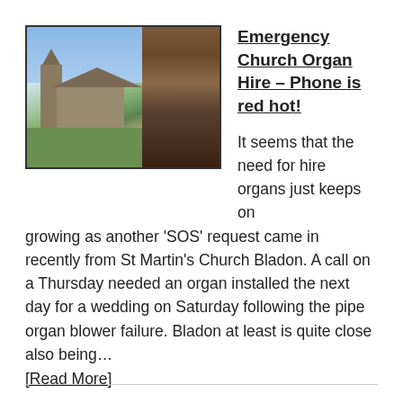[Figure (photo): Two photos side by side: left shows a stone church exterior with tower and graveyard; right shows someone playing a church organ indoors.]
Emergency Church Organ Hire – Phone is red hot!
It seems that the need for hire organs just keeps on growing as another 'SOS' request came in recently from St Martin's Church Bladon. A call on a Thursday needed an organ installed the next day for a wedding on Saturday following the pipe organ blower failure. Bladon at least is quite close also being…
[Read More]